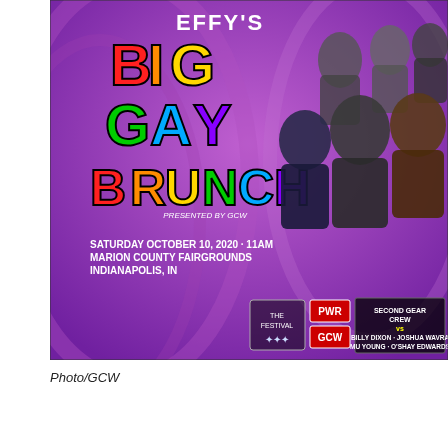[Figure (photo): Promotional poster for EFFY's Big Gay Brunch presented by GCW. Purple background with colorful rainbow lettering. Event details: Saturday October 10, 2020 - 11AM, Marion County Fairgrounds, Indianapolis, IN. Features wrestler portraits. Match listing: Second Gear Crew vs Billy Dixon · Joshua Wavra · MU Young · O'Shay Edwards. Logos for GCW and PWR visible.]
Photo/GCW